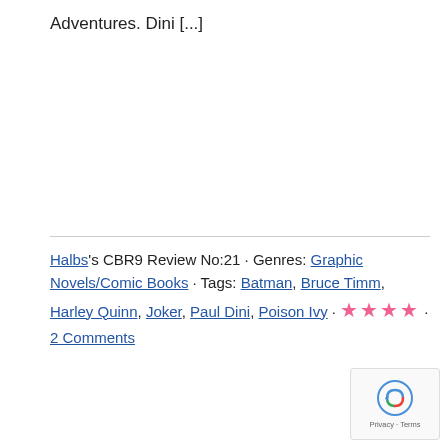Adventures.  Dini [...]
Halbs's CBR9 Review No:21 · Genres: Graphic Novels/Comic Books · Tags: Batman, Bruce Timm, Harley Quinn, Joker, Paul Dini, Poison Ivy · ★★★★ · 2 Comments
1
2
Next Page »
[Figure (logo): reCAPTCHA logo with Privacy and Terms text]